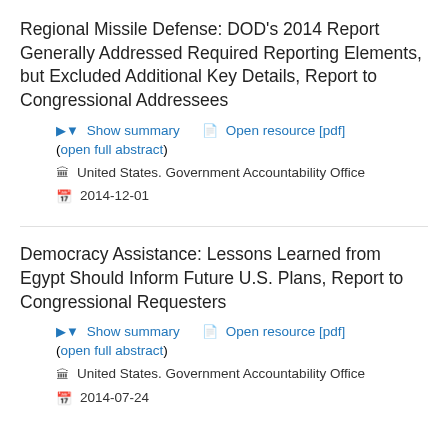Regional Missile Defense: DOD's 2014 Report Generally Addressed Required Reporting Elements, but Excluded Additional Key Details, Report to Congressional Addressees
Show summary | Open resource [pdf] | (open full abstract)
United States. Government Accountability Office
2014-12-01
Democracy Assistance: Lessons Learned from Egypt Should Inform Future U.S. Plans, Report to Congressional Requesters
Show summary | Open resource [pdf] | (open full abstract)
United States. Government Accountability Office
2014-07-24